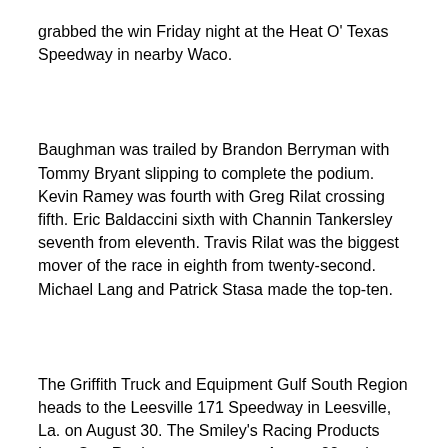grabbed the win Friday night at the Heat O' Texas Speedway in nearby Waco.
Baughman was trailed by Brandon Berryman with Tommy Bryant slipping to complete the podium. Kevin Ramey was fourth with Greg Rilat crossing fifth. Eric Baldaccini sixth with Channin Tankersley seventh from eleventh. Travis Rilat was the biggest mover of the race in eighth from twenty-second. Michael Lang and Patrick Stasa made the top-ten.
The Griffith Truck and Equipment Gulf South Region heads to the Leesville 171 Speedway in Leesville, La. on August 30. The Smiley's Racing Products Lone Star Region races next on August 22 at the Red River Speedway in Wichita Falls, Texas.
For continued updates and information, log onto http://www.ascsracing.com